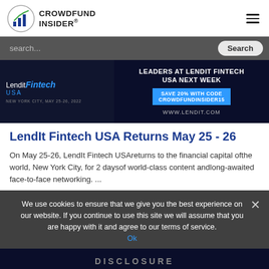CROWDFUND INSIDER
[Figure (screenshot): LendIt Fintech USA advertisement banner: dark background, LendIt Fintech USA logo on left, text 'LEADERS AT LENDIT FINTECH USA NEXT WEEK', 'SAVE 20% WITH CODE CROWDFUNDINSIDER15', 'WWW.LENDIT.COM']
LendIt Fintech USA Returns May 25 - 26
On May 25-26, LendIt Fintech USAreturns to the financial capital ofthe world, New York City, for 2 daysof world-class content andlong-awaited face-to-face networking. ...
We use cookies to ensure that we give you the best experience on our website. If you continue to use this site we will assume that you are happy with it and agree to our terms of service.
[Figure (screenshot): Bottom partial image showing 'DISCLOSURE' text on dark background]